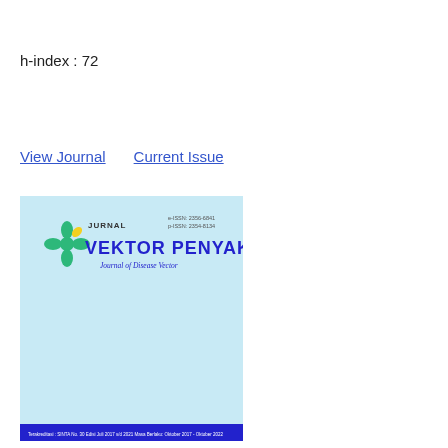h-index : 72
View Journal   Current Issue
[Figure (illustration): Journal cover of Jurnal Vektor Penyakit (Journal of Disease Vector) showing a light blue cover with a green and yellow flower logo, bold blue title 'VEKTOR PENYAKIT', italic subtitle 'Journal of Disease Vector', ISSN numbers in the top right, and a blue banner at the bottom with volume/issue information.]